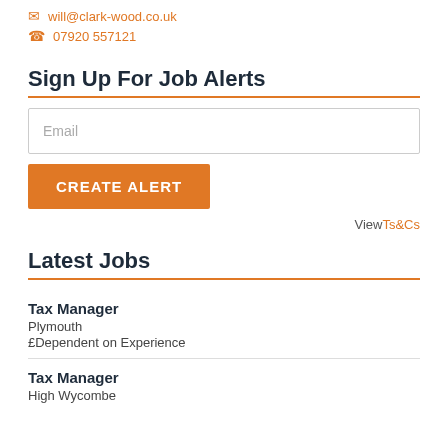will@clark-wood.co.uk
07920 557121
Sign Up For Job Alerts
Email
CREATE ALERT
View Ts&Cs
Latest Jobs
Tax Manager
Plymouth
£Dependent on Experience
Tax Manager
High Wycombe